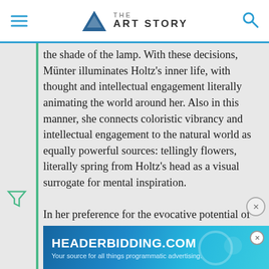THE ART STORY
the shade of the lamp. With these decisions, Münter illuminates Holtz's inner life, with thought and intellectual engagement literally animating the world around her. Also in this manner, she connects coloristic vibrancy and intellectual engagement to the natural world as equally powerful sources: tellingly flowers, literally spring from Holtz's head as a visual surrogate for mental inspiration.

In her preference for the evocative potential of outlined color planes, this work betrays the influence of Swedish avant-garde, and especially two former students of Henri Matisse, and founders of the Swedish Expressionist
[Figure (other): Advertisement banner for HEADERBIDDING.COM — 'Your source for all things programmatic advertising.']